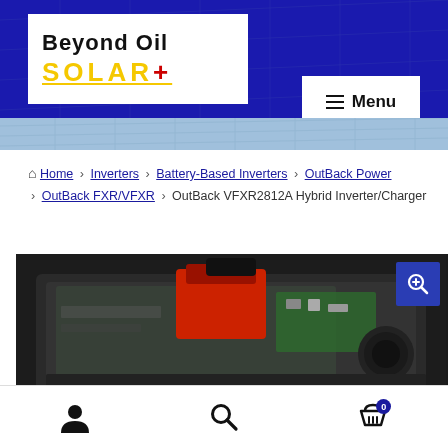[Figure (logo): Beyond Oil Solar logo with white background, black bold text 'Beyond Oil' and yellow underlined bold text 'SOLAR+' with red plus sign]
Menu
Home > Inverters > Battery-Based Inverters > OutBack Power > OutBack FXR/VFXR > OutBack VFXR2812A Hybrid Inverter/Charger
[Figure (photo): OutBack VFXR2812A Hybrid Inverter/Charger product photo showing black unit with red component on top, circuit board visible inside transparent cover, with blue zoom button overlay]
Account icon | Search icon | Cart icon with badge 0